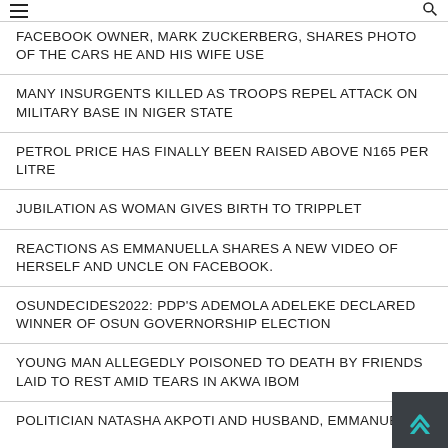FACEBOOK OWNER, MARK ZUCKERBERG, SHARES PHOTO OF THE CARS HE AND HIS WIFE USE
MANY INSURGENTS KILLED AS TROOPS REPEL ATTACK ON MILITARY BASE IN NIGER STATE
PETROL PRICE HAS FINALLY BEEN RAISED ABOVE N165 PER LITRE
JUBILATION AS WOMAN GIVES BIRTH TO TRIPPLET
REACTIONS AS EMMANUELLA SHARES A NEW VIDEO OF HERSELF AND UNCLE ON FACEBOOK.
OSUNDECIDES2022: PDP'S ADEMOLA ADELEKE DECLARED WINNER OF OSUN GOVERNORSHIP ELECTION
YOUNG MAN ALLEGEDLY POISONED TO DEATH BY FRIENDS LAID TO REST AMID TEARS IN AKWA IBOM
POLITICIAN NATASHA AKPOTI AND HUSBAND, EMMANUEL